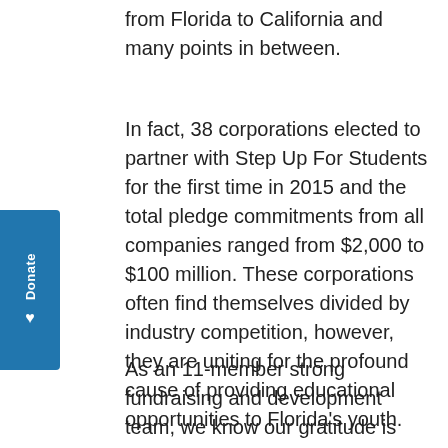from Florida to California and many points in between.
In fact, 38 corporations elected to partner with Step Up For Students for the first time in 2015 and the total pledge commitments from all companies ranged from $2,000 to $100 million. These corporations often find themselves divided by industry competition, however, they are uniting for the profound cause of providing educational opportunities to Florida's youth.
As an 11-member strong fundraising and development team, we know our gratitude is echoed by the 77,079 students who are